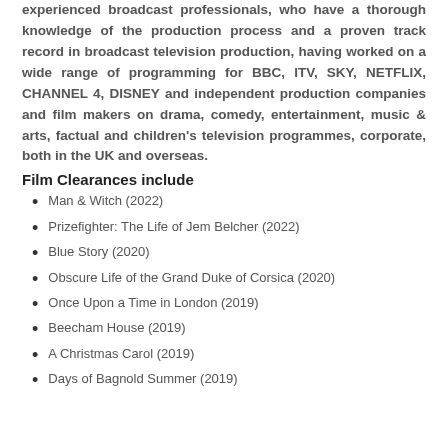experienced broadcast professionals, who have a thorough knowledge of the production process and a proven track record in broadcast television production, having worked on a wide range of programming for BBC, ITV, SKY, NETFLIX, CHANNEL 4, DISNEY and independent production companies and film makers on drama, comedy, entertainment, music & arts, factual and children's television programmes, corporate, both in the UK and overseas.
Film Clearances include
Man & Witch (2022)
Prizefighter: The Life of Jem Belcher (2022)
Blue Story (2020)
Obscure Life of the Grand Duke of Corsica (2020)
Once Upon a Time in London (2019)
Beecham House (2019)
A Christmas Carol (2019)
Days of Bagnold Summer (2019)